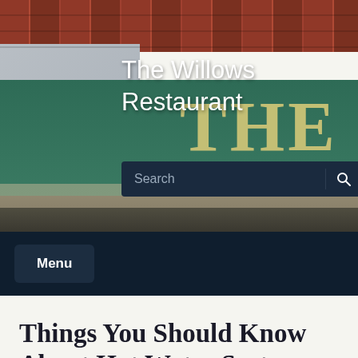[Figure (photo): Photo of The Willows Restaurant building exterior, showing brick facade and green painted sign with 'THE' visible in cream/gold lettering]
The Willows Restaurant
Search
Menu
Things You Should Know About Hot Water Systems